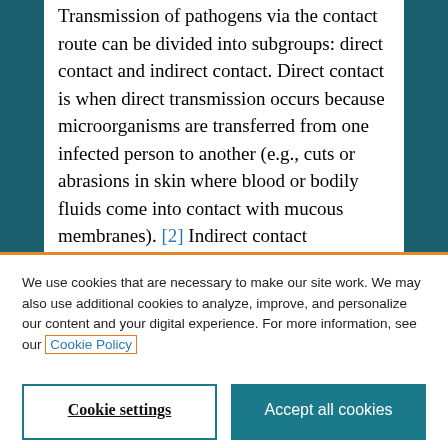Transmission of pathogens via the contact route can be divided into subgroups: direct contact and indirect contact. Direct contact is when direct transmission occurs because microorganisms are transferred from one infected person to another (e.g., cuts or abrasions in skin where blood or bodily fluids come into contact with mucous membranes). [2] Indirect contact transmission involves the
We use cookies that are necessary to make our site work. We may also use additional cookies to analyze, improve, and personalize our content and your digital experience. For more information, see our Cookie Policy
Cookie settings
Accept all cookies